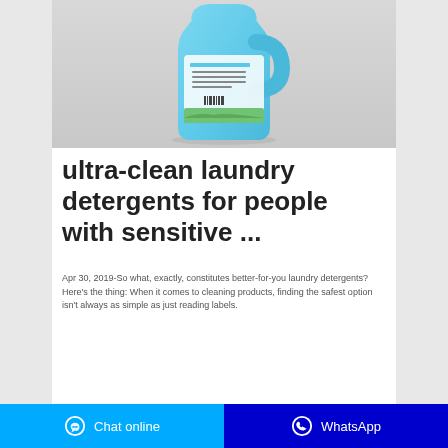[Figure (photo): Blue plastic laundry detergent bottle with green label design, photographed against a light gray background]
ultra-clean laundry detergents for people with sensitive ...
Apr 30, 2019-So what, exactly, constitutes better-for-you laundry detergents? Here's the thing: When it comes to cleaning products, finding the safest option isn't always as simple as just reading labels.
Chat online   WhatsApp